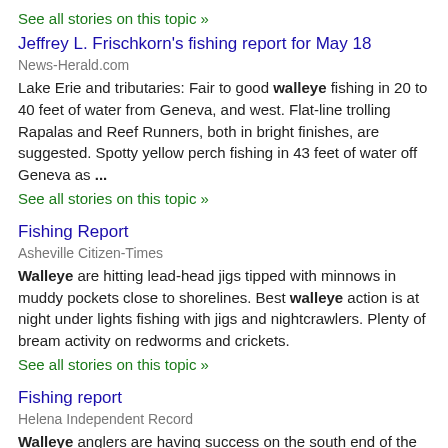See all stories on this topic »
Jeffrey L. Frischkorn's fishing report for May 18
News-Herald.com
Lake Erie and tributaries: Fair to good walleye fishing in 20 to 40 feet of water from Geneva, and west. Flat-line trolling Rapalas and Reef Runners, both in bright finishes, are suggested. Spotty yellow perch fishing in 43 feet of water off Geneva as ...
See all stories on this topic »
Fishing Report
Asheville Citizen-Times
Walleye are hitting lead-head jigs tipped with minnows in muddy pockets close to shorelines. Best walleye action is at night under lights fishing with jigs and nightcrawlers. Plenty of bream activity on redworms and crickets.
See all stories on this topic »
Fishing report
Helena Independent Record
Walleye anglers are having success on the south end of the